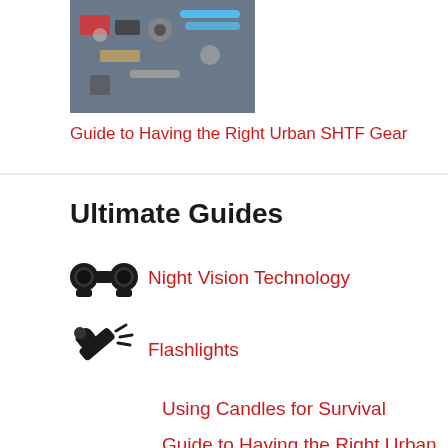[Figure (photo): Photo of urban survival gear items scattered on a surface including various tools and equipment]
Guide to Having the Right Urban SHTF Gear
Ultimate Guides
Night Vision Technology
Flashlights
Using Candles for Survival
Guide to Having the Right Urban SHTF Gear